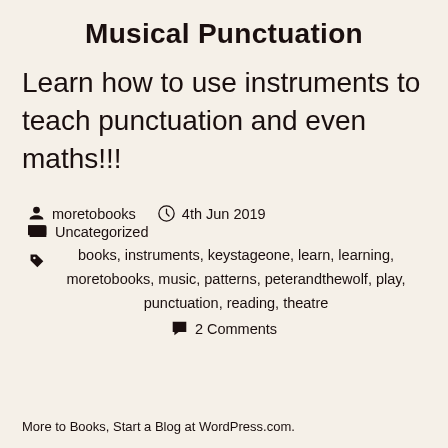Musical Punctuation
Learn how to use instruments to teach punctuation and even maths!!!
moretobooks   4th Jun 2019   Uncategorized
books, instruments, keystageone, learn, learning, moretobooks, music, patterns, peterandthewolf, play, punctuation, reading, theatre
2 Comments
More to Books, Start a Blog at WordPress.com.